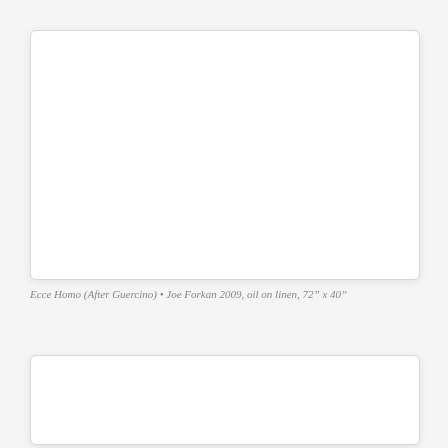[Figure (photo): White blank rectangular image placeholder with rounded corners and subtle shadow, top image]
Ecce Homo (After Guercino) • Joe Forkan 2009, oil on linen, 72” x 40”
[Figure (photo): White blank rectangular image placeholder with rounded corners and subtle shadow, bottom image]